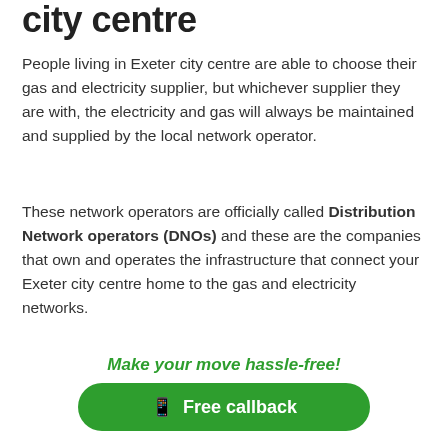city centre
People living in Exeter city centre are able to choose their gas and electricity supplier, but whichever supplier they are with, the electricity and gas will always be maintained and supplied by the local network operator.
These network operators are officially called Distribution Network operators (DNOs) and these are the companies that own and operates the infrastructure that connect your Exeter city centre home to the gas and electricity networks.
Most of the time you won't need to speak to the Exeter city centre distribution network operator, but should you ever need to, you can quickly find out which DNO covers Exeter
Make your move hassle-free!
Free callback